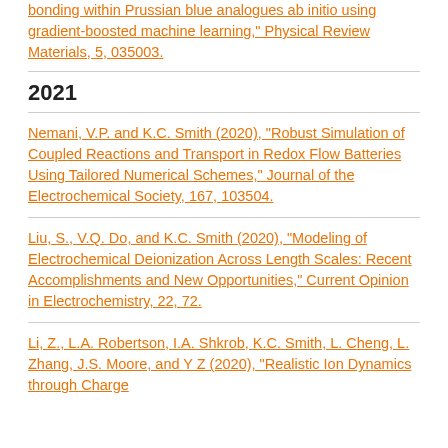bonding within Prussian blue analogues ab initio using gradient-boosted machine learning," Physical Review Materials, 5, 035003.
2021
Nemani, V.P. and K.C. Smith (2020), "Robust Simulation of Coupled Reactions and Transport in Redox Flow Batteries Using Tailored Numerical Schemes," Journal of the Electrochemical Society, 167, 103504.
Liu, S., V.Q. Do, and K.C. Smith (2020), "Modeling of Electrochemical Deionization Across Length Scales: Recent Accomplishments and New Opportunities," Current Opinion in Electrochemistry, 22, 72.
Li, Z., L.A. Robertson, I.A. Shkrob, K.C. Smith, L. Cheng, L. Zhang, J.S. Moore, and Y Z (2020), "Realistic Ion Dynamics through Charge